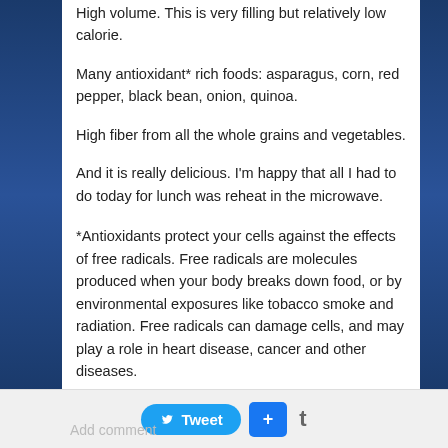High volume. This is very filling but relatively low calorie.
Many antioxidant* rich foods: asparagus, corn, red pepper, black bean, onion, quinoa.
High fiber from all the whole grains and vegetables.
And it is really delicious. I'm happy that all I had to do today for lunch was reheat in the microwave.
*Antioxidants protect your cells against the effects of free radicals. Free radicals are molecules produced when your body breaks down food, or by environmental exposures like tobacco smoke and radiation. Free radicals can damage cells, and may play a role in heart disease, cancer and other diseases.
[Figure (other): Share button with Twitter, Facebook, and Google+ icons]
Tweet  +  t  Add comment